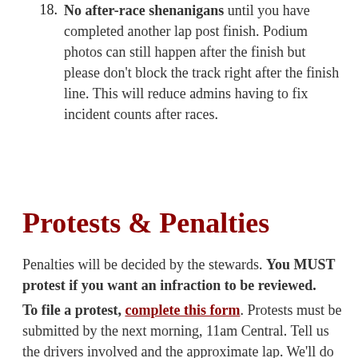18. No after-race shenanigans until you have completed another lap post finish. Podium photos can still happen after the finish but please don't block the track right after the finish line. This will reduce admins having to fix incident counts after races.
Protests & Penalties
Penalties will be decided by the stewards. You MUST protest if you want an infraction to be reviewed.
To file a protest, complete this form. Protests must be submitted by the next morning, 11am Central. Tell us the drivers involved and the approximate lap. We'll do the rest.